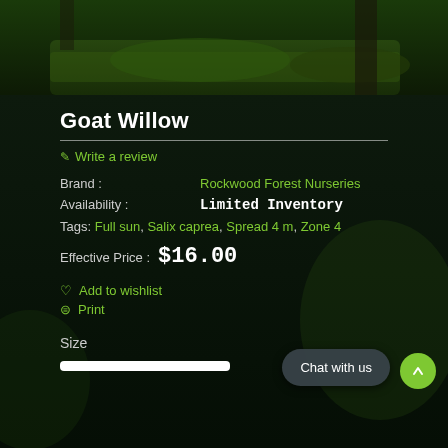[Figure (photo): Dark forest/mossy background photo at top of product page]
Goat Willow
✎ Write a review
Brand : Rockwood Forest Nurseries
Availability : Limited Inventory
Tags: Full sun, Salix caprea, Spread 4 m, Zone 4
Effective Price : $16.00
♡ Add to wishlist
⊜ Print
Size
Chat with us